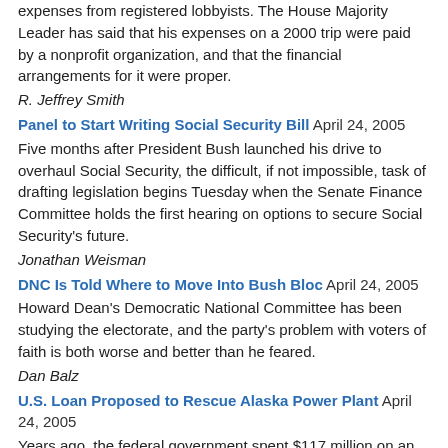expenses from registered lobbyists. The House Majority Leader has said that his expenses on a 2000 trip were paid by a nonprofit organization, and that the financial arrangements for it were proper.
R. Jeffrey Smith
Panel to Start Writing Social Security Bill April 24, 2005
Five months after President Bush launched his drive to overhaul Social Security, the difficult, if not impossible, task of drafting legislation begins Tuesday when the Senate Finance Committee holds the first hearing on options to secure Social Security's future.
Jonathan Weisman
DNC Is Told Where to Move Into Bush Bloc April 24, 2005
Howard Dean's Democratic National Committee has been studying the electorate, and the party's problem with voters of faith is both worse and better than he feared.
Dan Balz
U.S. Loan Proposed to Rescue Alaska Power Plant April 24, 2005
Years ago, the federal government spent $117 million on an experimental "clean coal" power plant in Alaska designed to generate electricity with a minimum of air pollution -- but the project never got up and running.